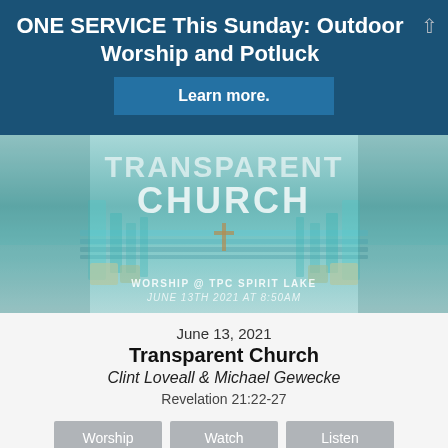ONE SERVICE This Sunday: Outdoor Worship and Potluck
Learn more.
[Figure (photo): Church stage scene with teal/glass aesthetic showing 'TRANSPARENT CHURCH' text overlay, and text 'WORSHIP @ TPC SPIRIT LAKE JUNE 13TH 2021 AT 8:50AM']
June 13, 2021
Transparent Church
Clint Loveall & Michael Gewecke
Revelation 21:22-27
Worship
Watch
Listen